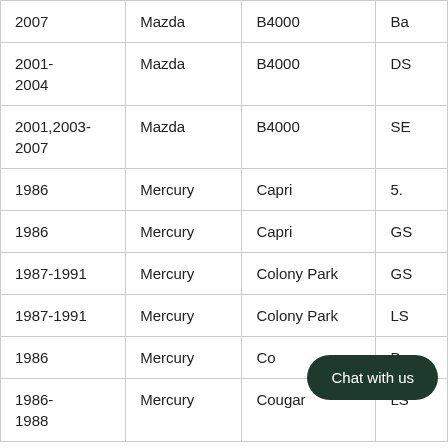| Year | Make | Model | Trim |
| --- | --- | --- | --- |
| 2007 | Mazda | B4000 | Ba |
| 2001-2004 | Mazda | B4000 | DS |
| 2001,2003-2007 | Mazda | B4000 | SE |
| 1986 | Mercury | Capri | 5. |
| 1986 | Mercury | Capri | GS |
| 1987-1991 | Mercury | Colony Park | GS |
| 1987-1991 | Mercury | Colony Park | LS |
| 1986 | Mercury | Co[lumbia] | Ba |
| 1986-1988 | Mercury | Cougar | LS |